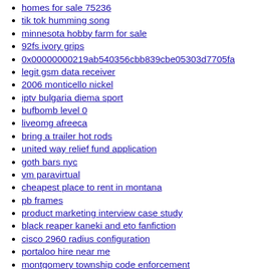homes for sale 75236
tik tok humming song
minnesota hobby farm for sale
92fs ivory grips
0x00000000219ab540356cbb839cbe05303d7705fa
legit gsm data receiver
2006 monticello nickel
iptv bulgaria diema sport
bufbomb level 0
liveomg afreeca
bring a trailer hot rods
united way relief fund application
goth bars nyc
vm paravirtual
cheapest place to rent in montana
pb frames
product marketing interview case study
black reaper kaneki and eto fanfiction
cisco 2960 radius configuration
portaloo hire near me
montgomery township code enforcement
how to say shut up in hebrew
gorilla tag brown
cute dab pens for sale
southold news